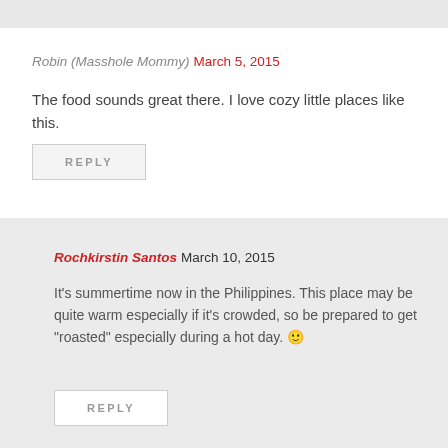Robin (Masshole Mommy) March 5, 2015
The food sounds great there. I love cozy little places like this.
REPLY
Rochkirstin Santos March 10, 2015
It's summertime now in the Philippines. This place may be quite warm especially if it's crowded, so be prepared to get "roasted" especially during a hot day. 🙂
REPLY